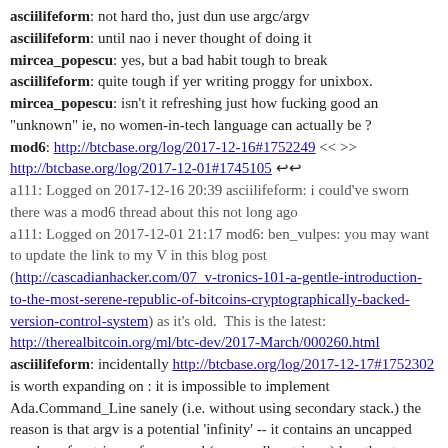asciilifeform: not hard tho, just dun use argc/argv
asciilifeform: until nao i never thought of doing it
mircea_popescu: yes, but a bad habit tough to break
asciilifeform: quite tough if yer writing proggy for unixbox.
mircea_popescu: isn't it refreshing just how fucking good an "unknown" ie, no women-in-tech language can actually be ?
mod6: http://btcbase.org/log/2017-12-16#1752249 << >> http://btcbase.org/log/2017-12-01#1745105 ⏫⏫
a111: Logged on 2017-12-16 20:39 asciilifeform: i could've sworn there was a mod6 thread about this not long ago
a111: Logged on 2017-12-01 21:17 mod6: ben_vulpes: you may want to update the link to my V in this blog post (http://cascadianhacker.com/07_v-tronics-101-a-gentle-introduction-to-the-most-serene-republic-of-bitcoins-cryptographically-backed-version-control-system) as it's old.  This is the latest: http://therealbitcoin.org/ml/btc-dev/2017-March/000260.html
asciilifeform: incidentally http://btcbase.org/log/2017-12-17#1752302 is worth expanding on : it is impossible to implement Ada.Command_Line sanely (i.e. without using secondary stack.) the reason is that argv is a potential 'infinity' -- it contains an uncapped number of c-strings of uncapped ( as are all c-strings ) length. ⏫
a111: Logged on 2017-12-17 01:40 asciilifeform stuck presently in an infuriating gnat labyrinth : turns out, a proggy that set pragma